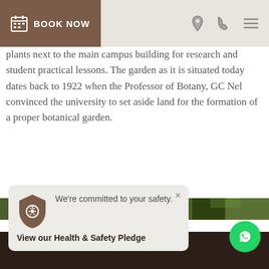BOOK NOW
plants next to the main campus building for research and student practical lessons. The garden as it is situated today dates back to 1922 when the Professor of Botany, GC Nel convinced the university to set aside land for the formation of a proper botanical garden.
[Figure (photo): Panoramic photo of botanical garden with trees and lush green canopy]
We're committed to your safety.
View our Health & Safety Pledge